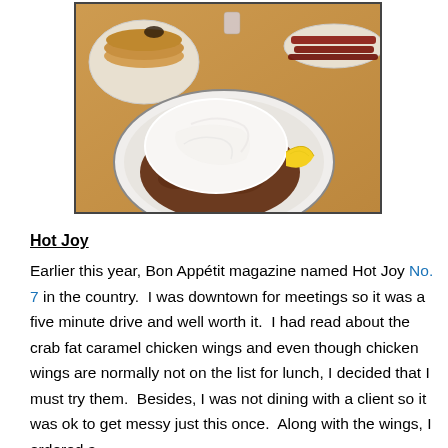[Figure (photo): A restaurant plate with corned beef hash topped with a large white poached or fried egg and a lemon wedge on the side. In the background are plates with pancakes and bacon on a wooden table.]
Hot Joy
Earlier this year, Bon Appétit magazine named Hot Joy No. 7 in the country.  I was downtown for meetings so it was a five minute drive and well worth it.  I had read about the crab fat caramel chicken wings and even though chicken wings are normally not on the list for lunch, I decided that I must try them.  Besides, I was not dining with a client so it was ok to get messy just this once.  Along with the wings, I ordered a